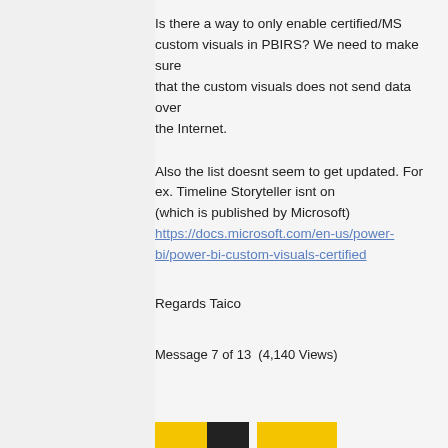Is there a way to only enable certified/MS custom visuals in PBIRS? We need to make sure that the custom visuals does not send data over the Internet.
Also the list doesnt seem to get updated. For ex. Timeline Storyteller isnt on (which is published by Microsoft)
https://docs.microsoft.com/en-us/power-bi/power-bi-custom-visuals-certified
Regards Taico
Message 7 of 13  (4,140 Views)
[Figure (other): Bottom bar with yellow and black button elements]